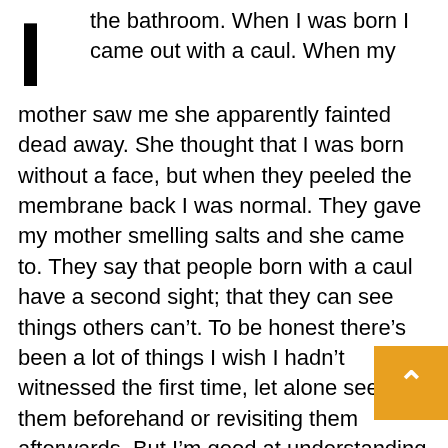I the bathroom. When I was born I came out with a caul. When my mother saw me she apparently fainted dead away. She thought that I was born without a face, but when they peeled the membrane back I was normal. They gave my mother smelling salts and she came to. They say that people born with a caul have a second sight; that they can see things others can't. To be honest there's been a lot of things I wish I hadn't witnessed the first time, let alone seeing them beforehand or revisiting them afterwards. But I'm good at understanding things, understanding people. Maybe it's just because I've had more time than most to practice.
My grandfather once owned all the houses in this street. He came back from the gold rush with enough money to buy the land and then built houses himself. This is the biggest one, it's als last. My grandfather may have been a good
[Figure (other): Orange/yellow scroll-to-top button with a white upward chevron arrow]